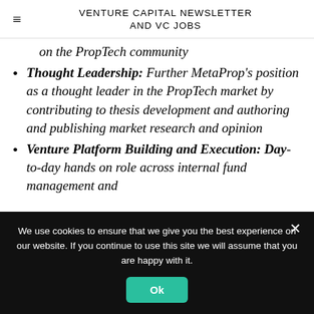VENTURE CAPITAL NEWSLETTER AND VC JOBS
on the PropTech community
Thought Leadership: Further MetaProp's position as a thought leader in the PropTech market by contributing to thesis development and authoring and publishing market research and opinion
Venture Platform Building and Execution: Day-to-day hands on role across internal fund management and
We use cookies to ensure that we give you the best experience on our website. If you continue to use this site we will assume that you are happy with it.